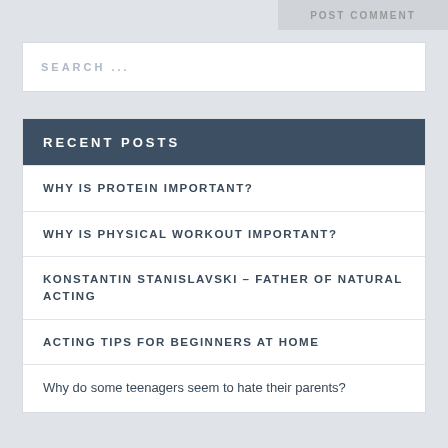POST COMMENT
SEARCH ...
RECENT POSTS
WHY IS PROTEIN IMPORTANT?
WHY IS PHYSICAL WORKOUT IMPORTANT?
KONSTANTIN STANISLAVSKI – FATHER OF NATURAL ACTING
ACTING TIPS FOR BEGINNERS AT HOME
Why do some teenagers seem to hate their parents?